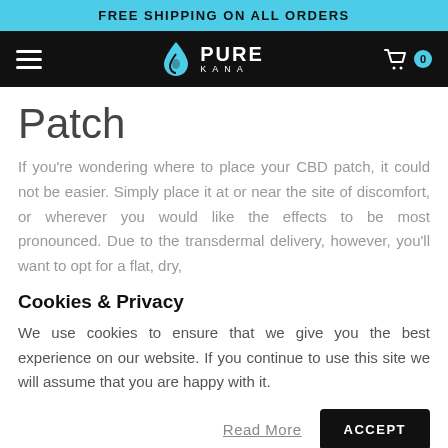FREE SHIPPING ON ALL ORDERS
[Figure (logo): PureKana logo with water drop icon, white text on black navbar with hamburger menu and cart icon showing badge 0]
Patch
If you're wondering where to place your CBD patch, it could not be easier. Simply place it at or near the site of discomfort, or wherever you would like the effects to be most pronounced. Due to the transdermal delivery, however, you'll want to opt for a flat, dry,
Cookies & Privacy
We use cookies to ensure that we give you the best experience on our website. If you continue to use this site we will assume that you are happy with it.
Read More   ACCEPT